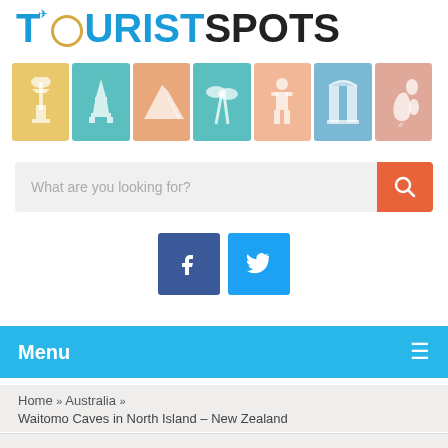[Figure (logo): Tourist Spots logo with colorful text and travel stamp icons strip]
[Figure (screenshot): Search bar with placeholder text 'What are you looking for?' and orange search button]
[Figure (screenshot): Facebook and Twitter social media icon buttons]
Menu
Home » Australia » Waitomo Caves in North Island – New Zealand